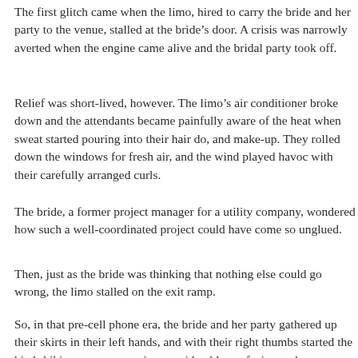The first glitch came when the limo, hired to carry the bride and her party to the venue, stalled at the bride's door. A crisis was narrowly averted when the engine came alive and the bridal party took off.
Relief was short-lived, however. The limo's air conditioner broke down and the attendants became painfully aware of the heat when sweat started pouring into their hair do, and make-up. They rolled down the windows for fresh air, and the wind played havoc with their carefully arranged curls.
The bride, a former project manager for a utility company, wondered how such a well-coordinated project could have come so unglued.
Then, just as the bride was thinking that nothing else could go wrong, the limo stalled on the exit ramp.
So, in that pre-cell phone era, the bride and her party gathered up their skirts in their left hands, and with their right thumbs started the hitch-hiking process, causing considerable confusion and consternation among double-taking driv